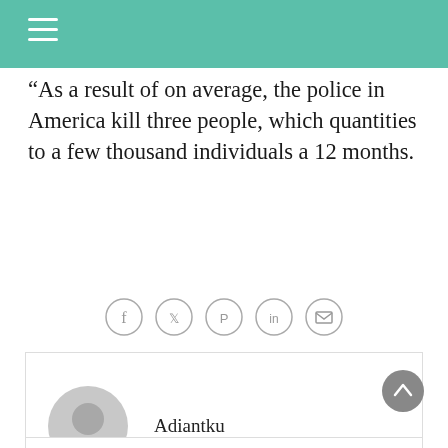“As a result of on average, the police in America kill three people, which quantities to a few thousand individuals a 12 months.
[Figure (other): Social sharing icons: Facebook, Twitter, Pinterest, LinkedIn, Email — each in a circle]
Adiantku
[Figure (other): Scroll-to-top button (upward chevron in grey circle)]